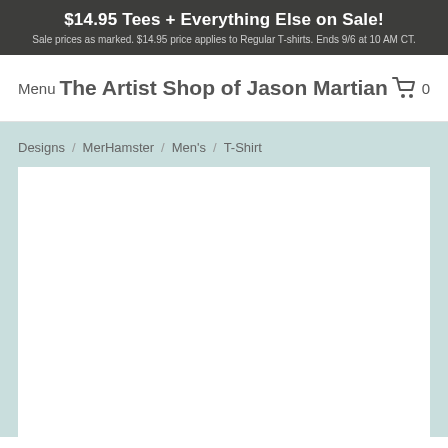$14.95 Tees + Everything Else on Sale! Sale prices as marked. $14.95 price applies to Regular T-shirts. Ends 9/6 at 10 AM CT.
The Artist Shop of Jason Martian
Menu
0
Designs / MerHamster / Men's / T-Shirt
[Figure (photo): White blank product image area for a T-shirt]